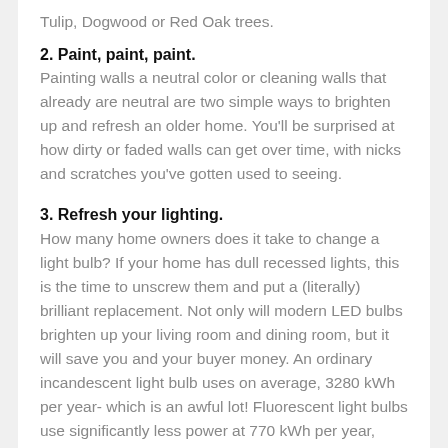Tulip, Dogwood or Red Oak trees.
2. Paint, paint, paint.
Painting walls a neutral color or cleaning walls that already are neutral are two simple ways to brighten up and refresh an older home. You'll be surprised at how dirty or faded walls can get over time, with nicks and scratches you've gotten used to seeing.
3. Refresh your lighting.
How many home owners does it take to change a light bulb? If your home has dull recessed lights, this is the time to unscrew them and put a (literally) brilliant replacement. Not only will modern LED bulbs brighten up your living room and dining room, but it will save you and your buyer money. An ordinary incandescent light bulb uses on average, 3280 kWh per year- which is an awful lot! Fluorescent light bulbs use significantly less power at 770 kWh per year, which isn't bad at all. But our favorite, the super